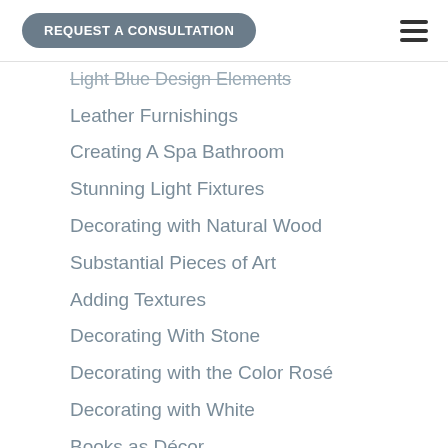REQUEST A CONSULTATION
Light Blue Design Elements
Leather Furnishings
Creating A Spa Bathroom
Stunning Light Fixtures
Decorating with Natural Wood
Substantial Pieces of Art
Adding Textures
Decorating With Stone
Decorating with the Color Rosé
Decorating with White
Books as Décor
Decorative Moldings
Decorating with Headboards
Decorating with Pastel Colors
Indoor-Outdoor Decorating
Metal Trim on Furniture
Decorating with Copper